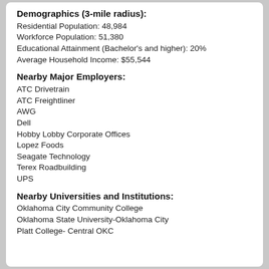Demographics (3-mile radius):
Residential Population: 48,984
Workforce Population: 51,380
Educational Attainment (Bachelor's and higher): 20%
Average Household Income: $55,544
Nearby Major Employers:
ATC Drivetrain
ATC Freightliner
AWG
Dell
Hobby Lobby Corporate Offices
Lopez Foods
Seagate Technology
Terex Roadbuilding
UPS
Nearby Universities and Institutions:
Oklahoma City Community College
Oklahoma State University-Oklahoma City
Platt College- Central OKC